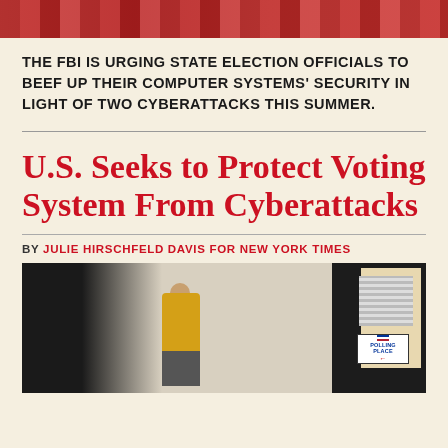[Figure (photo): Cropped top portion of a photo, appears to show red/dark tones, likely related to the article imagery]
THE FBI IS URGING STATE ELECTION OFFICIALS TO BEEF UP THEIR COMPUTER SYSTEMS' SECURITY IN LIGHT OF TWO CYBERATTACKS THIS SUMMER.
U.S. Seeks to Protect Voting System From Cyberattacks
BY JULIE HIRSCHFELD DAVIS FOR NEW YORK TIMES
[Figure (photo): A person in a yellow shirt walking near a polling place sign on a building exterior with a dark door]